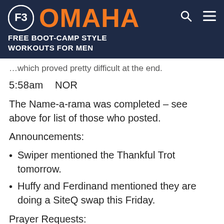F3 OMAHA — FREE BOOT-CAMP STYLE WORKOUTS FOR MEN
…which proved pretty difficult at the end.
5:58am    NOR
The Name-a-rama was completed – see above for list of those who posted.
Announcements:
Swiper mentioned the Thankful Trot tomorrow.
Huffy and Ferdinand mentioned they are doing a SiteQ swap this Friday.
Prayer Requests: